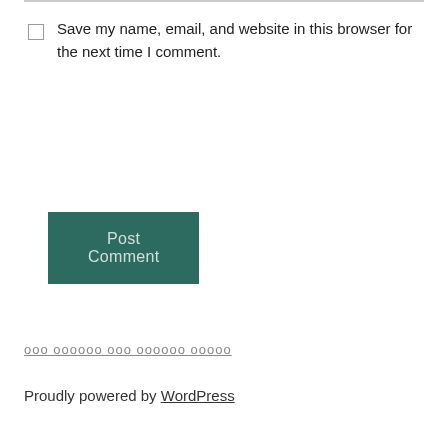Save my name, email, and website in this browser for the next time I comment.
Post Comment
ооо оооооо ооо оооооо оооoo
Proudly powered by WordPress